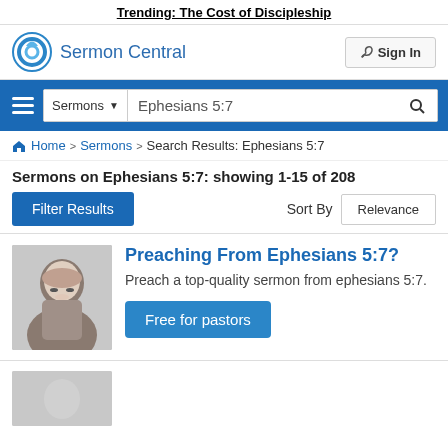Trending: The Cost of Discipleship
[Figure (logo): Sermon Central logo with circular blue icon and text 'Sermon Central']
Sign In
[Figure (screenshot): Search bar with hamburger menu, Sermons dropdown, search field containing 'Ephesians 5:7', and search button]
Home > Sermons > Search Results: Ephesians 5:7
Sermons on Ephesians 5:7: showing 1-15 of 208
Filter Results
Sort By  Relevance
Preaching From Ephesians 5:7?
Preach a top-quality sermon from ephesians 5:7.
Free for pastors